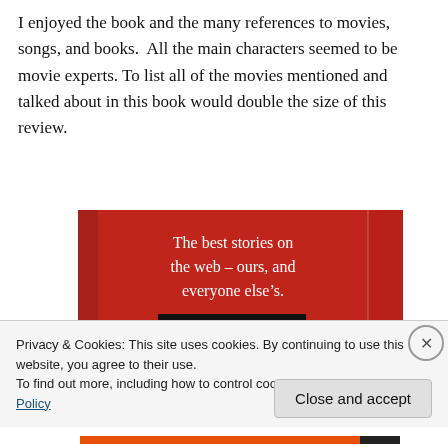I enjoyed the book and the many references to movies, songs, and books.  All the main characters seemed to be movie experts. To list all of the movies mentioned and talked about in this book would double the size of this review.
[Figure (other): Red advertisement banner reading 'The best stories on the web – ours, and everyone else's.' with a black 'Start reading' button]
Privacy & Cookies: This site uses cookies. By continuing to use this website, you agree to their use.
To find out more, including how to control cookies, see here: Cookie Policy